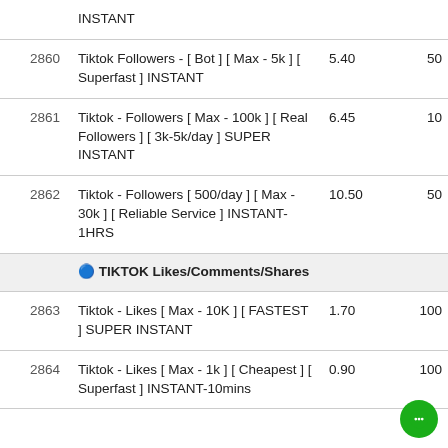| ID | Name | Price | Min |
| --- | --- | --- | --- |
|  | INSTANT |  |  |
| 2860 | Tiktok Followers - [ Bot ] [ Max - 5k ] [ Superfast ] INSTANT | 5.40 | 50 |
| 2861 | Tiktok - Followers [ Max - 100k ] [ Real Followers ] [ 3k-5k/day ] SUPER INSTANT | 6.45 | 10 |
| 2862 | Tiktok - Followers [ 500/day ] [ Max - 30k ] [ Reliable Service ] INSTANT-1HRS | 10.50 | 50 |
|  | 🔵 TIKTOK Likes/Comments/Shares |  |  |
| 2863 | Tiktok - Likes [ Max - 10K ] [ FASTEST ] SUPER INSTANT | 1.70 | 100 |
| 2864 | Tiktok - Likes [ Max - 1k ] [ Cheapest ] [ Superfast ] INSTANT-10mins | 0.90 | 100 |